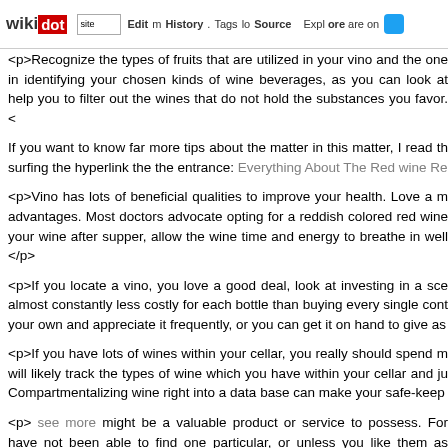wikidot | site | Edit | History | Tags | Source | Explore | Share on [Twitter]
<p>Recognize the types of fruits that are utilized in your vino and the one in identifying your chosen kinds of wine beverages, as you can look at help you to filter out the wines that do not hold the substances you favor.</p>
If you want to know far more tips about the matter in this matter, I read th surfing the hyperlink the the entrance: Everything About The Red wine Re
<p>Vino has lots of beneficial qualities to improve your health. Love a m advantages. Most doctors advocate opting for a reddish colored red win your wine after supper, allow the wine time and energy to breathe in wel </p>
<p>If you locate a vino, you love a good deal, look at investing in a sce almost constantly less costly for each bottle than buying every single con your own and appreciate it frequently, or you can get it on hand to give as
<p>If you have lots of wines within your cellar, you really should spend m will likely track the types of wine which you have within your cellar and ju Compartmentalizing wine right into a data base can make your safe-keep
<p> see more might be a valuable product or service to possess. For have not been able to find one particular, or unless you like them as consider getting an aerator rather. They fulfill very similar capabilities, and </p>
<p>If you are inside a cafe, do not sense shy about ordering a wine w choose wonderful wine to the eating places they work for, meaning that th good as those who price a lot.</p>